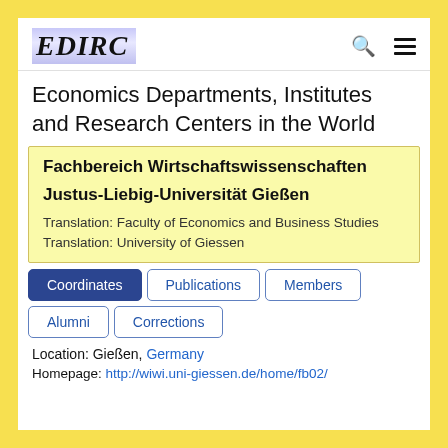EDIRC
Economics Departments, Institutes and Research Centers in the World
Fachbereich Wirtschaftswissenschaften
Justus-Liebig-Universität Gießen
Translation: Faculty of Economics and Business Studies
Translation: University of Giessen
Coordinates | Publications | Members | Alumni | Corrections
Location: Gießen, Germany
Homepage: http://wiwi.uni-giessen.de/home/fb02/